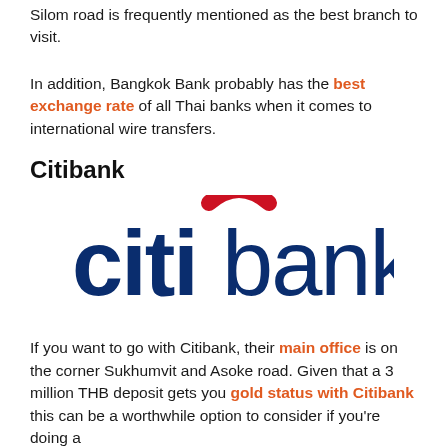Silom road is frequently mentioned as the best branch to visit.
In addition, Bangkok Bank probably has the best exchange rate of all Thai banks when it comes to international wire transfers.
Citibank
[Figure (logo): Citibank logo: lowercase 'citi' in dark navy blue with a red arc above the letter 'i', followed by 'bank' in dark navy blue]
If you want to go with Citibank, their main office is on the corner Sukhumvit and Asoke road. Given that a 3 million THB deposit gets you gold status with Citibank this can be a worthwhile option to consider if you're doing a